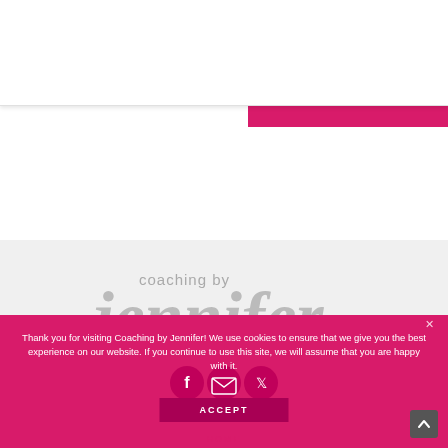[Figure (logo): Coaching by Jennifer logo with colorful paint splash and script font in header]
[Figure (illustration): Hamburger menu icon (three horizontal lines) in top right of header]
[Figure (logo): Coaching by Jennifer footer logo in gray section, large script text]
Thank you for visiting Coaching by Jennifer! We use cookies to ensure that we give you the best experience on our website. If you continue to use this site, we will assume that you are happy with it.
[Figure (illustration): Social media icons row: Facebook, email/envelope, Twitter on pink background]
ACCEPT
HOME